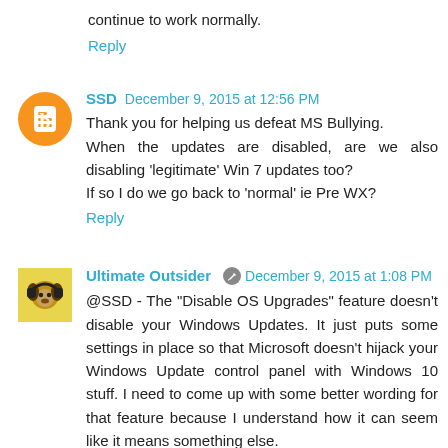continue to work normally.
Reply
SSD  December 9, 2015 at 12:56 PM
Thank you for helping us defeat MS Bullying.
When the updates are disabled, are we also disabling 'legitimate' Win 7 updates too?
If so I do we go back to 'normal' ie Pre WX?
Reply
Ultimate Outsider  December 9, 2015 at 1:08 PM
@SSD - The "Disable OS Upgrades" feature doesn't disable your Windows Updates. It just puts some settings in place so that Microsoft doesn't hijack your Windows Update control panel with Windows 10 stuff. I need to come up with some better wording for that feature because I understand how it can seem like it means something else.
Reply